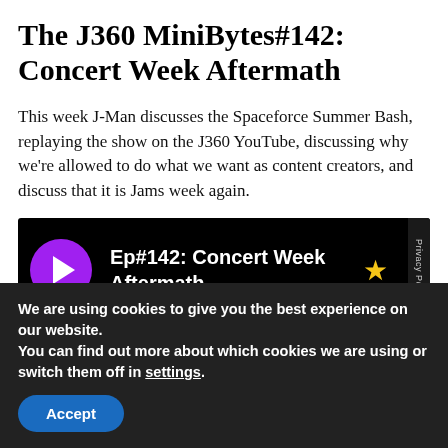The J360 MiniBytes#142: Concert Week Aftermath
This week J-Man discusses the Spaceforce Summer Bash, replaying the show on the J360 YouTube, discussing why we’re allowed to do what we want as content creators, and discuss that it is Jams week again.
[Figure (screenshot): Podcast player widget showing episode titled 'Ep#142: Concert Week Aftermath' with a purple play button circle, a yellow star icon, and a 'Privacy Policy' label on the right side, all on a black background.]
We are using cookies to give you the best experience on our website.
You can find out more about which cookies we are using or switch them off in settings.
Accept